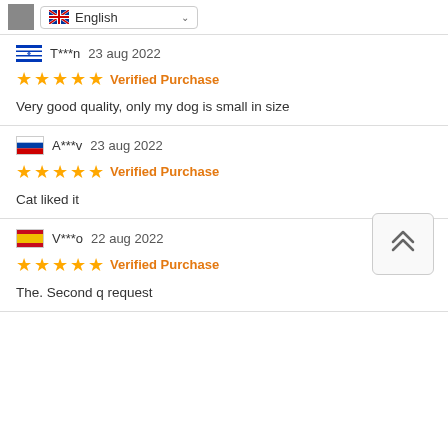English (language selector)
T***n  23 aug 2022
★★★★★ Verified Purchase
Very good quality, only my dog is small in size
A***v  23 aug 2022
★★★★★ Verified Purchase
Cat liked it
V***o  22 aug 2022
★★★★★ Verified Purchase
The. Second q request